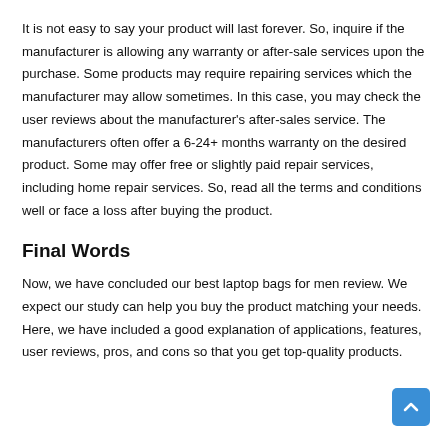It is not easy to say your product will last forever. So, inquire if the manufacturer is allowing any warranty or after-sale services upon the purchase. Some products may require repairing services which the manufacturer may allow sometimes. In this case, you may check the user reviews about the manufacturer's after-sales service. The manufacturers often offer a 6-24+ months warranty on the desired product. Some may offer free or slightly paid repair services, including home repair services. So, read all the terms and conditions well or face a loss after buying the product.
Final Words
Now, we have concluded our best laptop bags for men review. We expect our study can help you buy the product matching your needs. Here, we have included a good explanation of applications, features, user reviews, pros, and cons so that you get top-quality products.